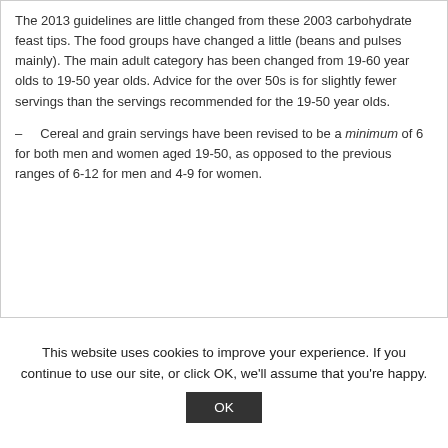The 2013 guidelines are little changed from these 2003 carbohydrate feast tips. The food groups have changed a little (beans and pulses mainly). The main adult category has been changed from 19-60 year olds to 19-50 year olds. Advice for the over 50s is for slightly fewer servings than the servings recommended for the 19-50 year olds.
– Cereal and grain servings have been revised to be a minimum of 6 for both men and women aged 19-50, as opposed to the previous ranges of 6-12 for men and 4-9 for women.
This website uses cookies to improve your experience. If you continue to use our site, or click OK, we'll assume that you're happy.